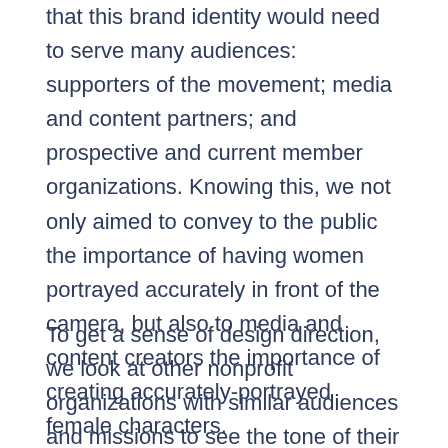that this brand identity would need to serve many audiences: supporters of the movement; media and content partners; and prospective and current member organizations. Knowing this, we not only aimed to convey to the public the importance of having women portrayed accurately in front of the camera, but also to media and content creators the importance of creating accurately-portrayed female characters.
To get a sense of design direction, we look at other nonprofit organizations with similar audiences and missions to see the tone of their branding. Are they playful and lighthearted, or more neutral and straightforward? Determining your audience also